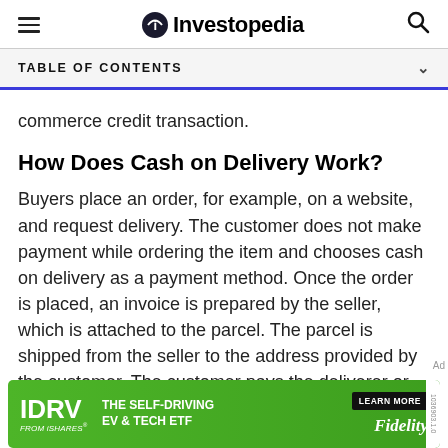Investopedia
TABLE OF CONTENTS
commerce credit transaction.
How Does Cash on Delivery Work?
Buyers place an order, for example, on a website, and request delivery. The customer does not make payment while ordering the item and chooses cash on delivery as a payment method. Once the order is placed, an invoice is prepared by the seller, which is attached to the parcel. The parcel is shipped from the seller to the address provided by the customer. The customer pays the deliverer or shipper using cash or
[Figure (screenshot): Advertisement banner for IDRV from iShares - The Self-Driving EV & Tech ETF by Fidelity with Learn More button]